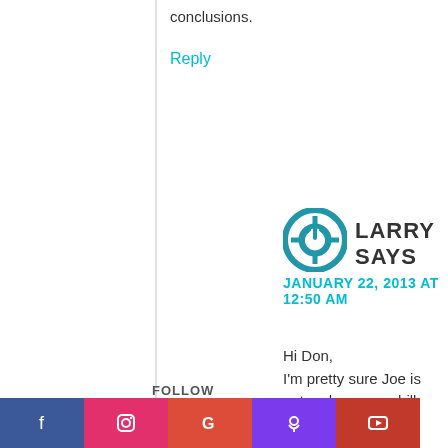conclusions.
Reply
LARRY SAYS
JANUARY 22, 2013 AT 12:50 AM
Hi Don,
I'm pretty sure Joe is not a pharmacy shill.

I also do some research on medicinal mushrooms and have found that [information] on medicinal mushrooms, like websites, do not always have accurate
FOLLOW
[Figure (infographic): Social media follow bar with icons for Facebook, Instagram, Google, Podcast, and YouTube]